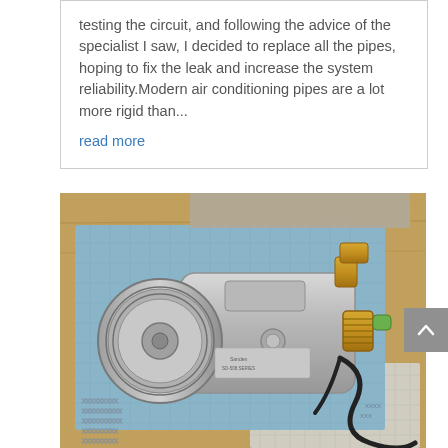testing the circuit, and following the advice of the specialist I saw, I decided to replace all the pipes, hoping to fix the leak and increase the system reliability.Modern air conditioning pipes are a lot more rigid than...
read more
[Figure (photo): An automotive air conditioning compressor (Sanden type) sitting on a blue mat on a wooden workbench, with brass fittings and a coiled black wire/hose visible. The compressor has a pulley wheel on the left side.]